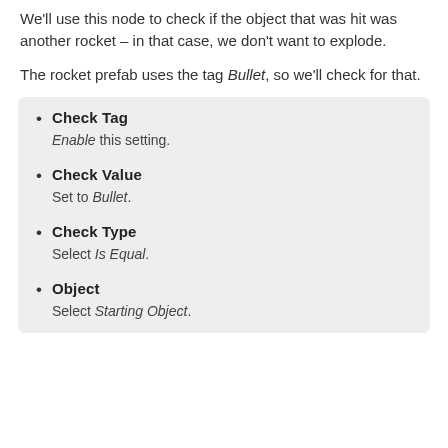We'll use this node to check if the object that was hit was another rocket – in that case, we don't want to explode.
The rocket prefab uses the tag Bullet, so we'll check for that.
Check Tag — Enable this setting.
Check Value — Set to Bullet.
Check Type — Select Is Equal.
Object — Select Starting Object.